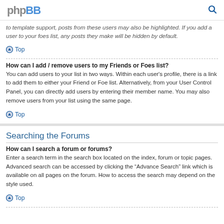phpBB [search icon]
to template support, posts from these users may also be highlighted. If you add a user to your foes list, any posts they make will be hidden by default.
Top
How can I add / remove users to my Friends or Foes list?
You can add users to your list in two ways. Within each user's profile, there is a link to add them to either your Friend or Foe list. Alternatively, from your User Control Panel, you can directly add users by entering their member name. You may also remove users from your list using the same page.
Top
Searching the Forums
How can I search a forum or forums?
Enter a search term in the search box located on the index, forum or topic pages. Advanced search can be accessed by clicking the "Advance Search" link which is available on all pages on the forum. How to access the search may depend on the style used.
Top